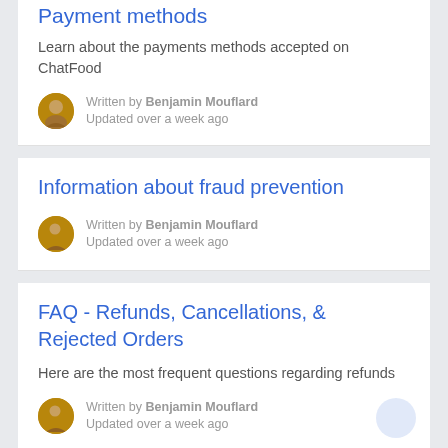Payment methods
Learn about the payments methods accepted on ChatFood
Written by Benjamin Mouflard
Updated over a week ago
Information about fraud prevention
Written by Benjamin Mouflard
Updated over a week ago
FAQ - Refunds, Cancellations, & Rejected Orders
Here are the most frequent questions regarding refunds
Written by Benjamin Mouflard
Updated over a week ago